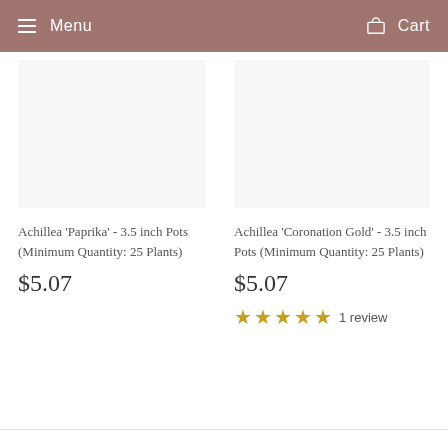Menu  Cart
Achillea 'Paprika' - 3.5 inch Pots (Minimum Quantity: 25 Plants)
$5.07
Achillea 'Coronation Gold' - 3.5 inch Pots (Minimum Quantity: 25 Plants)
$5.07
★★★★★  1 review